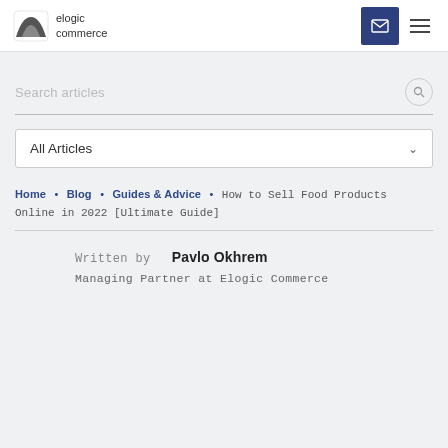elogic commerce
Search articles
All Articles
Home • Blog • Guides & Advice • How to Sell Food Products Online in 2022 [Ultimate Guide]
Written by Pavlo Okhrem
Managing Partner at Elogic Commerce